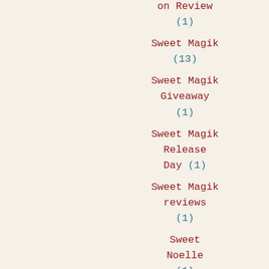on Review (1)
Sweet Magik (13)
Sweet Magik Giveaway (1)
Sweet Magik Release Day (1)
Sweet Magik reviews (1)
Sweet Noelle (1)
Swept Away By